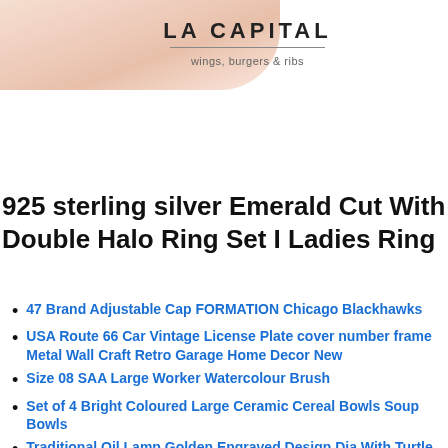[Figure (photo): Close-up photo of human hand/fingers with light skin tone, cropped at top-left of page]
[Figure (logo): LA CAPITAL logo with tagline 'wings, burgers & ribs' and horizontal rule]
925 sterling silver Emerald Cut With Double Halo Ring Set I Ladies Ring
47 Brand Adjustable Cap FORMATION Chicago Blackhawks
USA Route 66 Car Vintage License Plate cover number frame Metal Wall Craft Retro Garage Home Decor New
Size 08 SAA Large Worker Watercolour Brush
Set of 4 Bright Coloured Large Ceramic Cereal Bowls Soup Bowls
Traditional Oil Lamp Golden Engraved Design Dia With Turtle base Deepawali Diya/Tea Light Holder/Diwali/Christmas